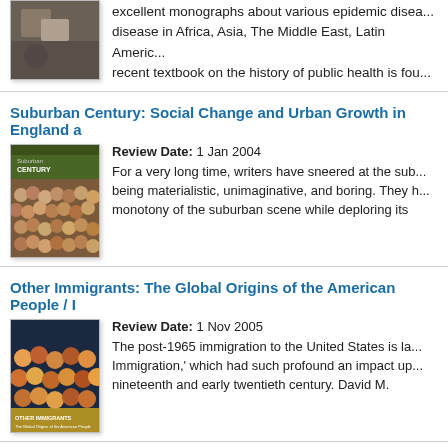[Figure (photo): Book cover image at top, partially visible, dark/sepia toned photo]
excellent monographs about various epidemic diseases disease in Africa, Asia, The Middle East, Latin America recent textbook on the history of public health is fou
Suburban Century: Social Change and Urban Growth in England a
[Figure (photo): Book cover of Suburban Century showing a crowd of people, green cover]
Review Date: 1 Jan 2004
For a very long time, writers have sneered at the suburbs for being materialistic, unimaginative, and boring. They have noted the monotony of the suburban scene while deploring its
Other Immigrants: The Global Origins of the American People /
[Figure (photo): Book cover of Other Immigrants showing crowd of people, colorful]
Review Date: 1 Nov 2005
The post-1965 immigration to the United States is la Immigration, which had such profound an impact up nineteenth and early twentieth century. David M.